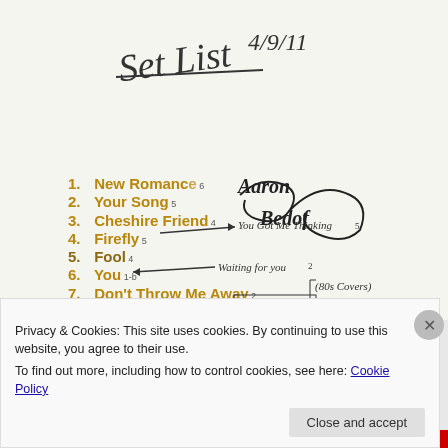Set List 4/9/11
1. New Romance 6
2. Your Song 5
3. Cheshire Friend 4
4. Firefly 5
5. Fool 4  → You Got Me Thinking 5
6. You 1-b  ← Waiting for you 2
7. Don't Throw Me Away 2  (80s Covers)
8. Elevated 4  ← Oklahoma 8
Privacy & Cookies: This site uses cookies. By continuing to use this website, you agree to their use. To find out more, including how to control cookies, see here: Cookie Policy
Close and accept